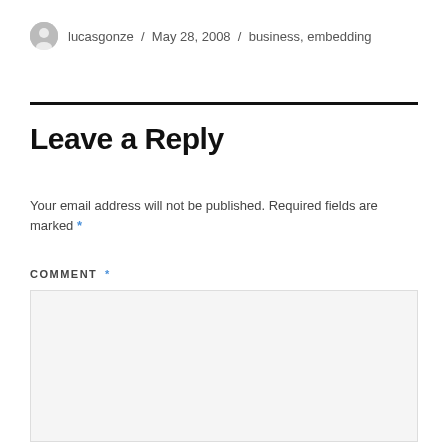lucasgonze / May 28, 2008 / business, embedding
Leave a Reply
Your email address will not be published. Required fields are marked *
COMMENT *